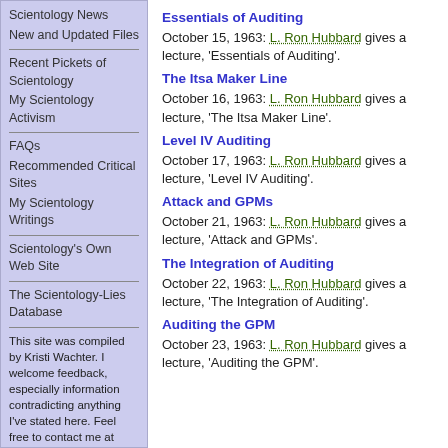Scientology News
New and Updated Files
Recent Pickets of Scientology
My Scientology Activism
FAQs
Recommended Critical Sites
My Scientology Writings
Scientology's Own Web Site
The Scientology-Lies Database
This site was compiled by Kristi Wachter. I welcome feedback, especially information contradicting anything I've stated here. Feel free to contact me at info@scientology-lies.com
Essentials of Auditing
October 15, 1963: L. Ron Hubbard gives a lecture, 'Essentials of Auditing'.
The Itsa Maker Line
October 16, 1963: L. Ron Hubbard gives a lecture, 'The Itsa Maker Line'.
Level IV Auditing
October 17, 1963: L. Ron Hubbard gives a lecture, 'Level IV Auditing'.
Attack and GPMs
October 21, 1963: L. Ron Hubbard gives a lecture, 'Attack and GPMs'.
The Integration of Auditing
October 22, 1963: L. Ron Hubbard gives a lecture, 'The Integration of Auditing'.
Auditing the GPM
October 23, 1963: L. Ron Hubbard gives a lecture, 'Auditing the GPM'.